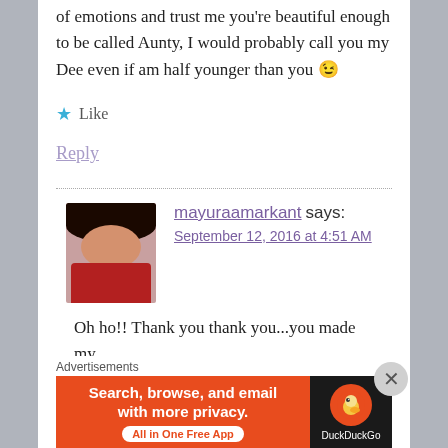of emotions and trust me you're beautiful enough to be called Aunty, I would probably call you my Dee even if am half younger than you 😉
★ Like
Reply
mayuraamarkant says: September 12, 2016 at 4:51 AM
Oh ho!! Thank you thank you...you made my
[Figure (infographic): DuckDuckGo advertisement banner: orange left section with text 'Search, browse, and email with more privacy.' and 'All in One Free App' button, dark right section with DuckDuckGo logo]
Advertisements